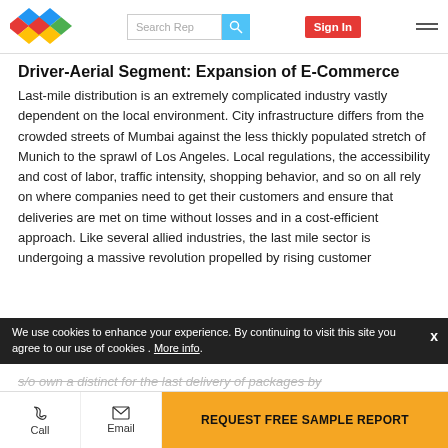Search Rep | Sign In
Driver-Aerial Segment: Expansion of E-Commerce
Last-mile distribution is an extremely complicated industry vastly dependent on the local environment. City infrastructure differs from the crowded streets of Mumbai against the less thickly populated stretch of Munich to the sprawl of Los Angeles. Local regulations, the accessibility and cost of labor, traffic intensity, shopping behavior, and so on all rely on where companies need to get their customers and ensure that deliveries are met on time without losses and in a cost-efficient approach. Like several allied industries, the last mile sector is undergoing a massive revolution propelled by rising customer
We use cookies to enhance your experience. By continuing to visit this site you agree to our use of cookies . More info.
s/o own a distinct for the last delivery of packages by
REQUEST FREE SAMPLE REPORT